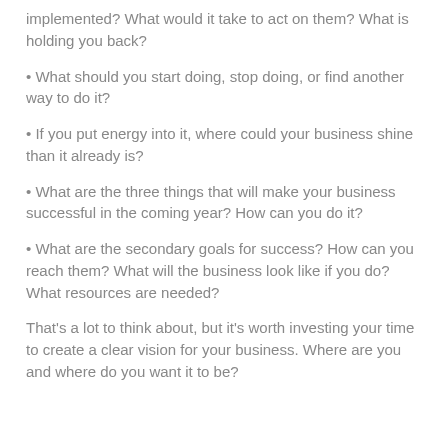implemented? What would it take to act on them? What is holding you back?
• What should you start doing, stop doing, or find another way to do it?
• If you put energy into it, where could your business shine than it already is?
• What are the three things that will make your business successful in the coming year? How can you do it?
• What are the secondary goals for success? How can you reach them? What will the business look like if you do? What resources are needed?
That's a lot to think about, but it's worth investing your time to create a clear vision for your business. Where are you and where do you want it to be?